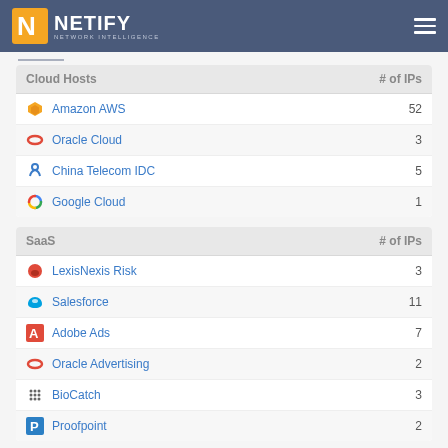NETIFY NETWORK INTELLIGENCE
| Cloud Hosts | # of IPs |
| --- | --- |
| Amazon AWS | 52 |
| Oracle Cloud | 3 |
| China Telecom IDC | 5 |
| Google Cloud | 1 |
| SaaS | # of IPs |
| --- | --- |
| LexisNexis Risk | 3 |
| Salesforce | 11 |
| Adobe Ads | 7 |
| Oracle Advertising | 2 |
| BioCatch | 3 |
| Proofpoint | 2 |